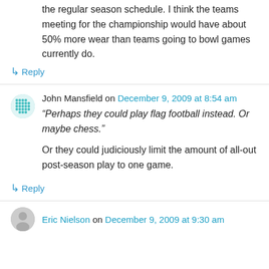the regular season schedule. I think the teams meeting for the championship would have about 50% more wear than teams going to bowl games currently do.
↳ Reply
John Mansfield on December 9, 2009 at 8:54 am
“Perhaps they could play flag football instead. Or maybe chess.”
Or they could judiciously limit the amount of all-out post-season play to one game.
↳ Reply
Eric Nielson on December 9, 2009 at 9:30 am